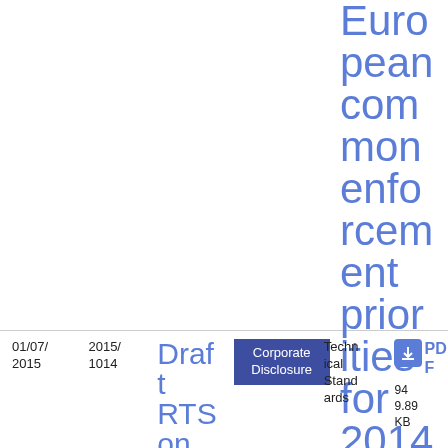European common enforcement priorities for 2014 financial statements
01/07/2015
2015/1014
Draft RTS on pros
Corporate Disclosure
Technical Standards
PDF 94 9.89 KB